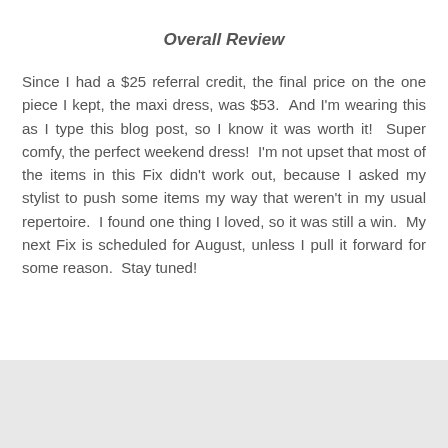Overall Review
Since I had a $25 referral credit, the final price on the one piece I kept, the maxi dress, was $53.  And I'm wearing this as I type this blog post, so I know it was worth it!  Super comfy, the perfect weekend dress!  I'm not upset that most of the items in this Fix didn't work out, because I asked my stylist to push some items my way that weren't in my usual repertoire.  I found one thing I loved, so it was still a win.  My next Fix is scheduled for August, unless I pull it forward for some reason.  Stay tuned!